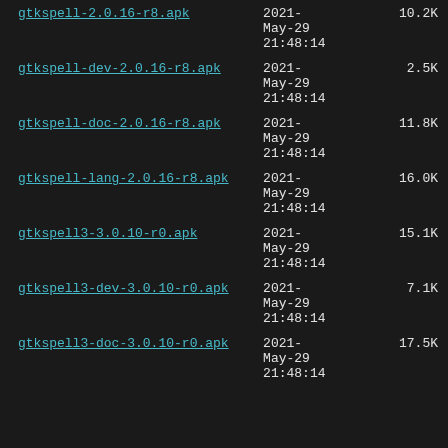| Name | Date | Size |
| --- | --- | --- |
| gtkspell-2.0.16-r8.apk | 2021-May-29 21:48:14 | 10.2K |
| gtkspell-dev-2.0.16-r8.apk | 2021-May-29 21:48:14 | 2.5K |
| gtkspell-doc-2.0.16-r8.apk | 2021-May-29 21:48:14 | 11.8K |
| gtkspell-lang-2.0.16-r8.apk | 2021-May-29 21:48:14 | 16.0K |
| gtkspell3-3.0.10-r0.apk | 2021-May-29 21:48:14 | 15.1K |
| gtkspell3-dev-3.0.10-r0.apk | 2021-May-29 21:48:14 | 7.1K |
| gtkspell3-doc-3.0.10-r0.apk | 2021-May-29 21:48:14 | 17.5K |